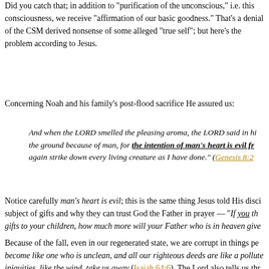Did you catch that; in addition to "purification of the unconscious," i.e. this consciousness, we receive "affirmation of our basic goodness." That's a denial of the CSM derived nonsense of some alleged "true self"; but here's the problem according to Jesus.
Concerning Noah and his family's post-flood sacrifice He assured us:
And when the LORD smelled the pleasing aroma, the LORD said in his heart, "I will never again curse the ground because of man, for the intention of man's heart is evil from his youth. Neither will I again strike down every living creature as I have done." (Genesis 8:21)
Notice carefully man's heart is evil; this is the same thing Jesus told His disciples on the subject of gifts and why they can trust God the Father in prayer — "If you then, who are evil, know how to give good gifts to your children, how much more will your Father who is in heaven give"
Because of the fall, even in our regenerated state, we are corrupt in things pertaining to the flesh — we have become like one who is unclean, and all our righteous deeds are like a polluted garment. We all fade like a leaf, and our iniquities, like the wind, take us away (Isaiah 64:6). The Lord also tells us through the apostle Paul:
For I know that nothing good dwells in me, that is, in my flesh. For I have the desire to do what is right, but not the ability to carry it out. For I do not do the good I want, but the evil I do not want is what I keep on doing. Now if I do what I do not want, it is no longer I who do it, b
So I find it to be a law that when I want to do right, evil lies close at hand. For I delight in the law of God, in my inner being, but I see in my members another law waging war against the law of my mind and making me captive to the law of sin that dwells in my members. Wret